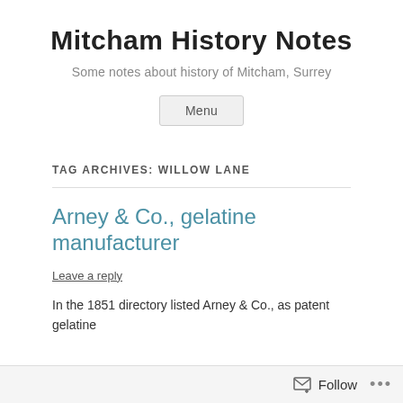Mitcham History Notes
Some notes about history of Mitcham, Surrey
Menu
TAG ARCHIVES: WILLOW LANE
Arney & Co., gelatine manufacturer
Leave a reply
In the 1851 directory listed Arney & Co., as patent gelatine